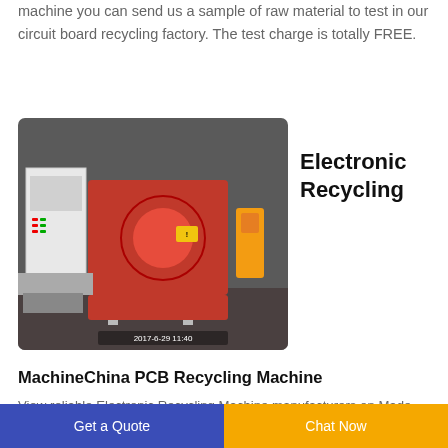machine you can send us a sample of raw material to test in our circuit board recycling factory. The test charge is totally FREE.
[Figure (photo): Industrial electronic recycling machine with red and white components, control panel on left, photographed in a factory setting. Timestamp: 2017-6-29 11:40]
Electronic Recycling
MachineChina PCB Recycling Machine
View reliable Electronic Recycling Machine manufacturers on Made-in-China. This category presents PCB Recycling Machine, E Waste Recycling...